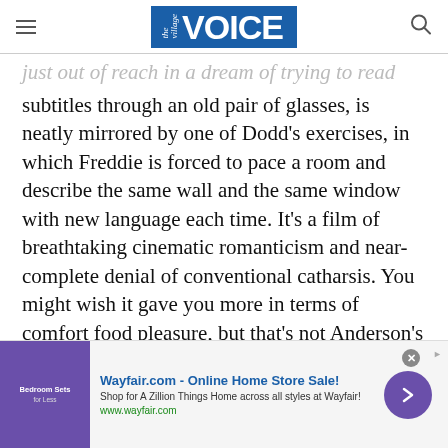Village Voice
just out of reach in a dream of trying to read subtitles through an old pair of glasses, is neatly mirrored by one of Dodd’s exercises, in which Freddie is forced to pace a room and describe the same wall and the same window with new language each time. It’s a film of breathtaking cinematic romanticism and near-complete denial of conventional catharsis. You might wish it gave you more in terms of comfort food pleasure, but that’s not Anderson’s problem. You’ve just seen too many
[Figure (other): Wayfair.com advertisement banner: 'Wayfair.com - Online Home Store Sale! Shop for A Zillion Things Home across all styles at Wayfair! www.wayfair.com' with a purple background image showing bedroom furniture, a purple circular arrow button, and a close (x) button.]